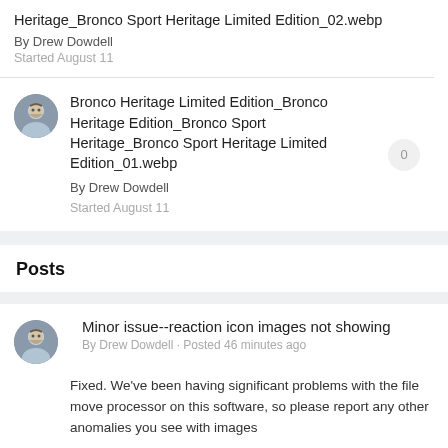Heritage_Bronco Sport Heritage Limited Edition_02.webp
By Drew Dowdell
Started August 11
Bronco Heritage Limited Edition_Bronco Heritage Edition_Bronco Sport Heritage_Bronco Sport Heritage Limited Edition_01.webp
By Drew Dowdell
Started August 11
Posts
Minor issue--reaction icon images not showing
By Drew Dowdell · Posted 46 minutes ago
Fixed. We've been having significant problems with the file move processor on this software, so please report any other anomalies you see with images